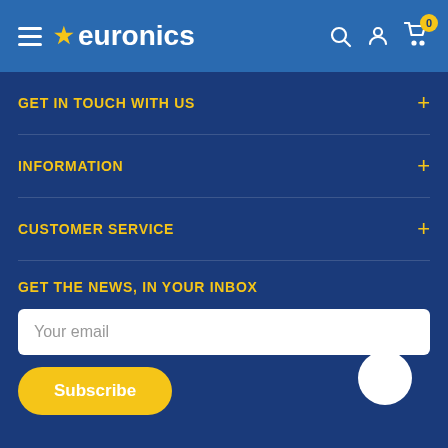euronics — navigation header with menu, search, account, cart (0)
GET IN TOUCH WITH US
INFORMATION
CUSTOMER SERVICE
GET THE NEWS, IN YOUR INBOX
Your email
Subscribe